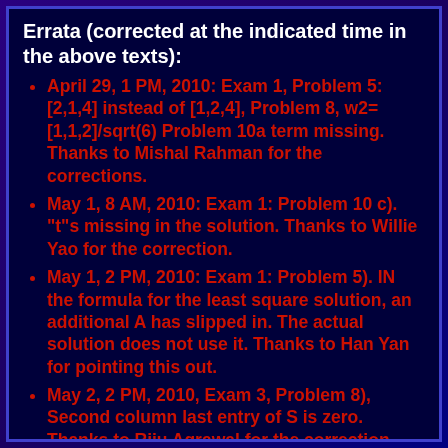Errata (corrected at the indicated time in the above texts):
April 29, 1 PM, 2010: Exam 1, Problem 5: [2,1,4] instead of [1,2,4], Problem 8, w2=[1,1,2]/sqrt(6) Problem 10a term missing. Thanks to Mishal Rahman for the corrections.
May 1, 8 AM, 2010: Exam 1: Problem 10 c). "t"s missing in the solution. Thanks to Willie Yao for the correction.
May 1, 2 PM, 2010: Exam 1: Problem 5). IN the formula for the least square solution, an additional A has slipped in. The actual solution does not use it. Thanks to Han Yan for pointing this out.
May 2, 2 PM, 2010, Exam 3, Problem 8), Second column last entry of S is zero. Thanks to Riju Agrawal for the correction
May 2, 6 PM, 2010, Exam 1, TF Problem 4. f(x)=x should be changed to